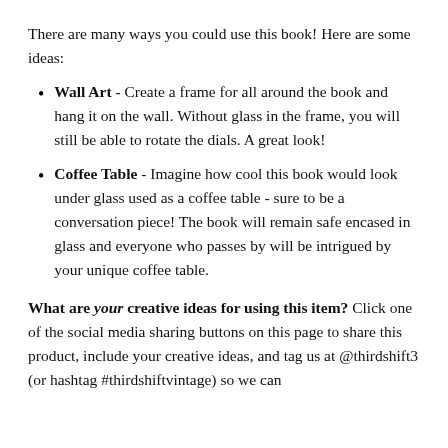There are many ways you could use this book! Here are some ideas:
Wall Art - Create a frame for all around the book and hang it on the wall. Without glass in the frame, you will still be able to rotate the dials. A great look!
Coffee Table - Imagine how cool this book would look under glass used as a coffee table - sure to be a conversation piece! The book will remain safe encased in glass and everyone who passes by will be intrigued by your unique coffee table.
What are your creative ideas for using this item? Click one of the social media sharing buttons on this page to share this product, include your creative ideas, and tag us at @thirdshift3 (or hashtag #thirdshiftvintage) so we can